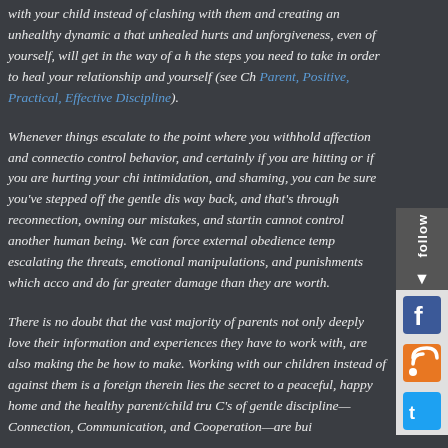with your child instead of clashing with them and creating an unhealthy dynamic and that unhealed hurts and unforgiveness, even of yourself, will get in the way of a healthy relationship the steps you need to take in order to heal your relationship and yourself (see Ch... Parent, Positive, Practical, Effective Discipline).
Whenever things escalate to the point where you withhold affection and connection to control behavior, and certainly if you are hitting or if you are hurting your child through intimidation, and shaming, you can be sure you've stepped off the gentle discipline path. The way back, and that's through reconnection, owning our mistakes, and starting fresh. We cannot control another human being. We can force external obedience temporarily by escalating the threats, emotional manipulations, and punishments which accompany that, and do far greater damage than they are worth.
There is no doubt that the vast majority of parents not only deeply love their children, the information and experiences they have to work with, are also making the best choices they know how to make. Working with our children instead of against them is a foreign concept, yet therein lies the secret to a peaceful, happy home and the healthy parent/child trust. The three C's of gentle discipline—Connection, Communication, and Cooperation—are built on this trust.
Related posts:
The Color of Change
When Toddlers Become Teens